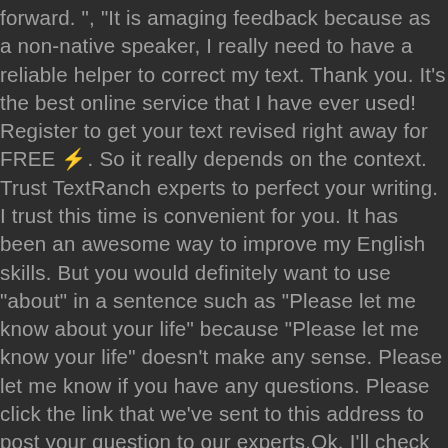forward. ", "It is amaging feedback because as a non-native speaker, I really need to have a reliable helper to correct my text. Thank you. It's the best online service that I have ever used! Register to get your text revised right away for FREE ⚡. So it really depends on the context. Trust TextRanch experts to perfect your writing. I trust this time is convenient for you. It has been an awesome way to improve my English skills. But you would definitely want to use "about" in a sentence such as "Please let me know about your life" because "Please let me know your life" doesn't make any sense. Please let me know if you have any questions. Please click the link that we've sent to this address to post your question to our experts.Ok, I'll check my email. Live. It is wise to confirm an agreement in writing to ensure that all parties share the same understanding, and that you have a written record for future reference. Please also let us know of any allergies, dietary requirements, or medical conditions you have that you would like your host family to be informed of. In order to post your